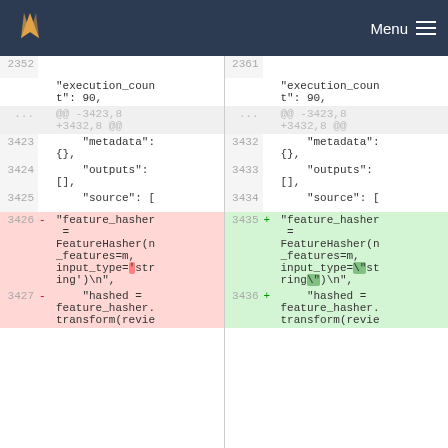GitLab Menu
Diff view showing code changes. Left side lines 2352-3427, right side lines 2361-3436. Changes to feature_hasher and FeatureHasher code, modifying input_type parameter from single quotes to escaped double quotes.